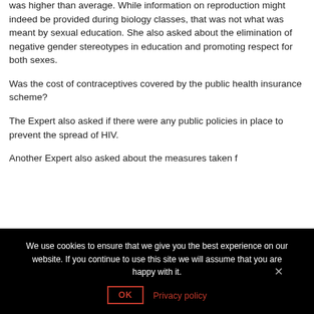was higher than average. While information on reproduction might indeed be provided during biology classes, that was not what was meant by sexual education. She also asked about the elimination of negative gender stereotypes in education and promoting respect for both sexes.
Was the cost of contraceptives covered by the public health insurance scheme?
The Expert also asked if there were any public policies in place to prevent the spread of HIV.
Another Expert also asked about the measures taken f...
We use cookies to ensure that we give you the best experience on our website. If you continue to use this site we will assume that you are happy with it.
OK
Privacy policy